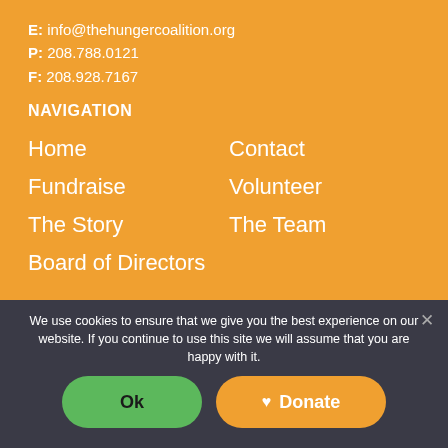E: info@thehungercoalition.org
P: 208.788.0121
F: 208.928.7167
NAVIGATION
Home
Contact
Fundraise
Volunteer
The Story
The Team
Board of Directors
We use cookies to ensure that we give you the best experience on our website. If you continue to use this site we will assume that you are happy with it.
Ok | Donate